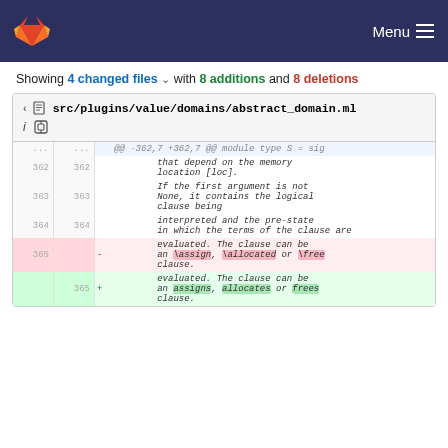GitLab header with Menu
Showing 4 changed files with 8 additions and 8 deletions
| old | new | sign | code |
| --- | --- | --- | --- |
| ... | ... |  | @@ -362,7 +362,7 @@ module type S = sig |
| 362 | 362 |  |         that depend on the memory location [loc]. |
| 363 | 363 |  |         If the first argument is not None, it contains the logical clause being |
| 364 | 364 |  |         interpreted and the pre-state in which the terms of the clause are |
| 365 |  | - |         evaluated. The clause can be an \assign, \allocated or \free clause. |
|  | 365 | + |         evaluated. The clause can be an assigns, allocates or frees clause. |